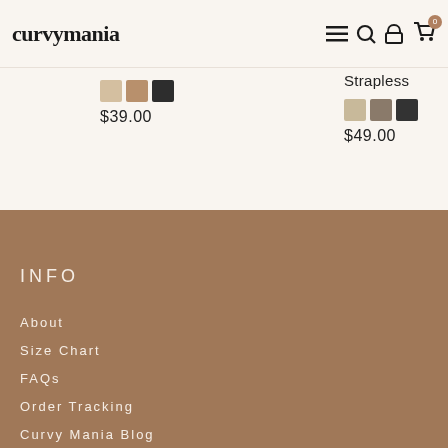curvymania
$39.00
Strapless
$49.00
INFO
About
Size Chart
FAQs
Order Tracking
Curvy Mania Blog